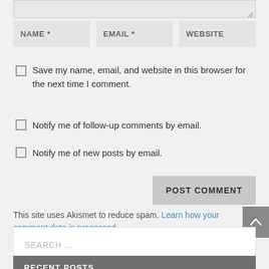[Figure (screenshot): Top portion of a textarea input (cropped), with a resize handle in bottom-right corner]
NAME *
EMAIL *
WEBSITE
Save my name, email, and website in this browser for the next time I comment.
Notify me of follow-up comments by email.
Notify me of new posts by email.
POST COMMENT
This site uses Akismet to reduce spam. Learn how your comment data is processed.
SEARCH ...
RECENT POSTS